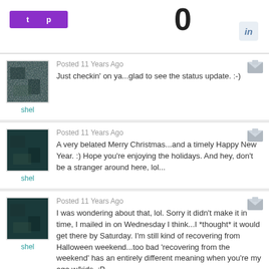[Figure (screenshot): Top bar with purple button, number 0, and LinkedIn icon]
Posted 11 Years Ago
Just checkin' on ya...glad to see the status update. :-)
Posted 11 Years Ago
A very belated Merry Christmas...and a timely Happy New Year. :) Hope you're enjoying the holidays. And hey, don't be a stranger around here, lol...
Posted 11 Years Ago
I was wondering about that, lol. Sorry it didn't make it in time, I mailed in on Wednesday I think...I *thought* it would get there by Saturday. I'm still kind of recovering from Halloween weekend...too bad 'recovering from the weekend' has an entirely different meaning when you're my age w/kids. :P
Posted 11 Years Ago
Happy Haunting...hope you're having a good weekend. :)
I'm heading out for small town festivities (god help me) and trick or treating...I'll feel like the undead by 8 pm I'm sure. Did you dress up this year?